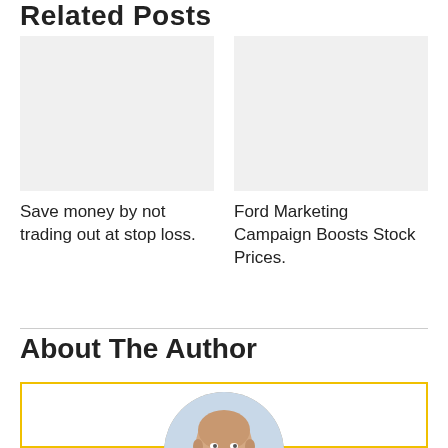Related Posts
[Figure (photo): Placeholder image for related post about stop loss trading]
Save money by not trading out at stop loss.
[Figure (photo): Placeholder image for related post about Ford Marketing Campaign]
Ford Marketing Campaign Boosts Stock Prices.
About The Author
[Figure (photo): Circular portrait photo of the author, an older bald man, inside a yellow-bordered box]